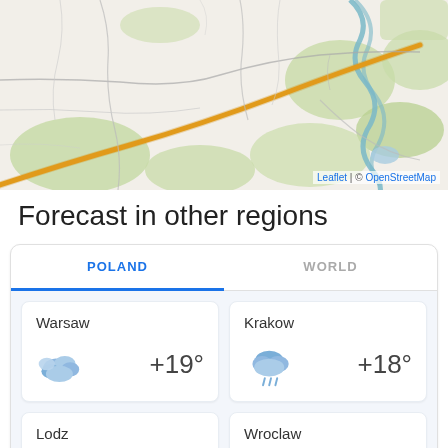[Figure (map): OpenStreetMap tile showing a region of Poland with roads, green areas, and a river. Orange highway visible. Attribution: Leaflet | © OpenStreetMap]
Forecast in other regions
POLAND | WORLD (tab selector, POLAND active)
Warsaw +19°
Krakow +18°
Lodz
Wroclaw